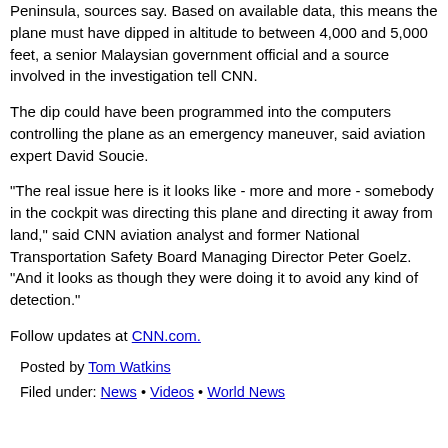Peninsula, sources say. Based on available data, this means the plane must have dipped in altitude to between 4,000 and 5,000 feet, a senior Malaysian government official and a source involved in the investigation tell CNN.
The dip could have been programmed into the computers controlling the plane as an emergency maneuver, said aviation expert David Soucie.
"The real issue here is it looks like - more and more - somebody in the cockpit was directing this plane and directing it away from land," said CNN aviation analyst and former National Transportation Safety Board Managing Director Peter Goelz. "And it looks as though they were doing it to avoid any kind of detection."
Follow updates at CNN.com.
Posted by Tom Watkins
Filed under: News • Videos • World News